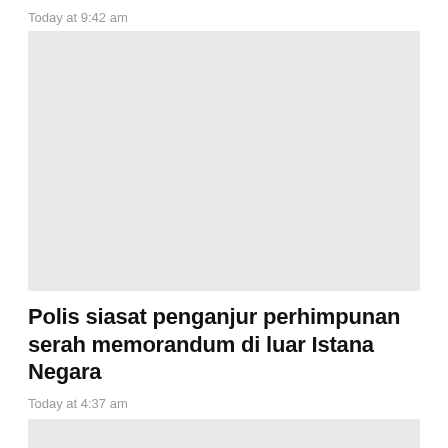Today at 9:42 am
[Figure (photo): Gray placeholder image for a news article]
Polis siasat penganjur perhimpunan serah memorandum di luar Istana Negara
Today at 4:37 am
[Figure (photo): Gray placeholder image for a second news article]